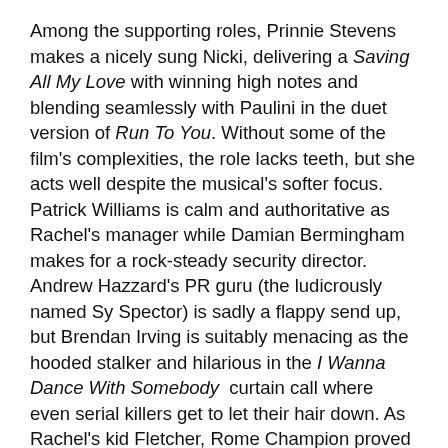Among the supporting roles, Prinnie Stevens makes a nicely sung Nicki, delivering a Saving All My Love with winning high notes and blending seamlessly with Paulini in the duet version of Run To You. Without some of the film's complexities, the role lacks teeth, but she acts well despite the musical's softer focus. Patrick Williams is calm and authoritative as Rachel's manager while Damian Bermingham makes for a rock-steady security director. Andrew Hazzard's PR guru (the ludicrously named Sy Spector) is sadly a flappy send up, but Brendan Irving is suitably menacing as the hooded stalker and hilarious in the I Wanna Dance With Somebody curtain call where even serial killers get to let their hair down. As Rachel's kid Fletcher, Rome Champion proved a Michael Jackson-esque scene-stealer, unmissable in the How Will I Know dance routine.
The ensemble of dancers work their arses off and Karen Bruce's pop video choreography features the kind of thrusting pelvises and gratuitous ripped torsos that, dare I say, would have the feminists fuming if the genders